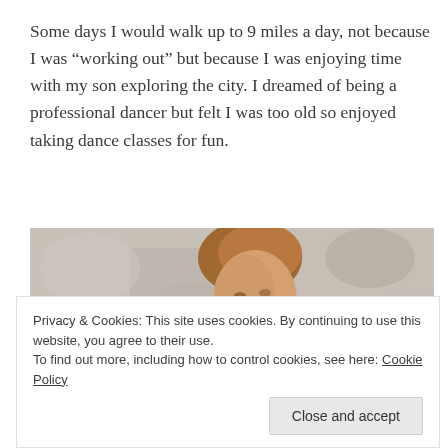Some days I would walk up to 9 miles a day, not because I was “working out” but because I was enjoying time with my son exploring the city. I dreamed of being a professional dancer but felt I was too old so enjoyed taking dance classes for fun.
[Figure (photo): A woman with short blonde hair smiling, photographed outdoors with a rocky/textured background, with green foliage visible at the bottom. The photo appears warm-toned and candid.]
Privacy & Cookies: This site uses cookies. By continuing to use this website, you agree to their use.
To find out more, including how to control cookies, see here: Cookie Policy
Close and accept